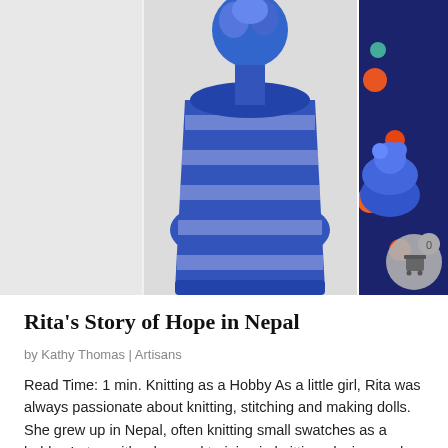[Figure (photo): Two photos side by side: left shows a blue and grey striped knitted hat with pompom on white fluffy background; right shows a woman in a dark floral dress holding a blue ribbed knitted hat with pompom. A shopping cart badge with '0' is visible in the bottom right corner.]
Rita's Story of Hope in Nepal
by Kathy Thomas | Artisans
Read Time: 1 min. Knitting as a Hobby As a little girl, Rita was always passionate about knitting, stitching and making dolls. She grew up in Nepal, often knitting small swatches as a hobby. Later, with advanced training in knitting, design, and patterns, Rita began